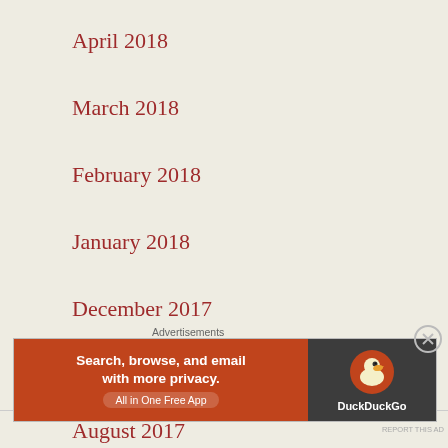April 2018
March 2018
February 2018
January 2018
December 2017
November 2017
August 2017
Advertisements
[Figure (other): DuckDuckGo advertisement banner: 'Search, browse, and email with more privacy. All in One Free App' with DuckDuckGo logo on dark background]